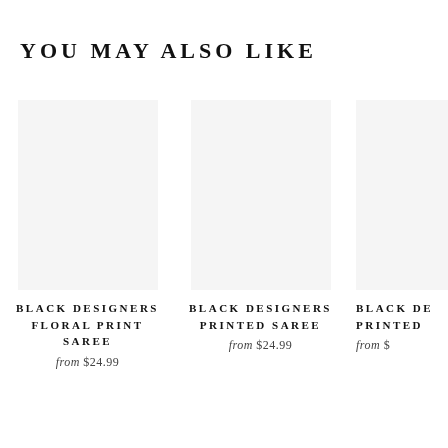YOU MAY ALSO LIKE
[Figure (photo): Blank product image placeholder for Black Designers Floral Print Saree]
BLACK DESIGNERS FLORAL PRINT SAREE
from $24.99
[Figure (photo): Blank product image placeholder for Black Designers Printed Saree]
BLACK DESIGNERS PRINTED SAREE
from $24.99
[Figure (photo): Blank product image placeholder for Black Designers Printed (partially visible)]
BLACK DE PRINTED
from $